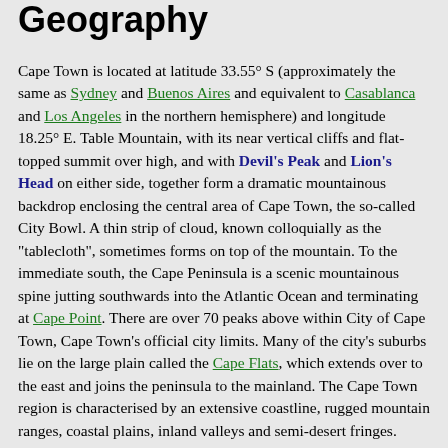Geography
Cape Town is located at latitude 33.55° S (approximately the same as Sydney and Buenos Aires and equivalent to Casablanca and Los Angeles in the northern hemisphere) and longitude 18.25° E. Table Mountain, with its near vertical cliffs and flat-topped summit over high, and with Devil's Peak and Lion's Head on either side, together form a dramatic mountainous backdrop enclosing the central area of Cape Town, the so-called City Bowl. A thin strip of cloud, known colloquially as the "tablecloth", sometimes forms on top of the mountain. To the immediate south, the Cape Peninsula is a scenic mountainous spine jutting southwards into the Atlantic Ocean and terminating at Cape Point. There are over 70 peaks above within City of Cape Town, Cape Town's official city limits. Many of the city's suburbs lie on the large plain called the Cape Flats, which extends over to the east and joins the peninsula to the mainland. The Cape Town region is characterised by an extensive coastline, rugged mountain ranges, coastal plains, inland valleys and semi-desert fringes.